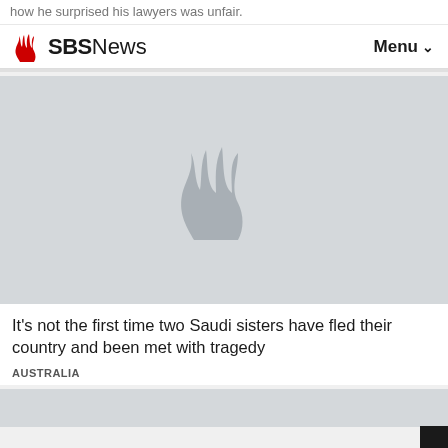how he surprised his lawyers was unfair.
SBS News   Menu
[Figure (screenshot): SBS News website screenshot showing article image placeholder with SBS logo watermark in grey]
It's not the first time two Saudi sisters have fled their country and been met with tragedy
AUSTRALIA